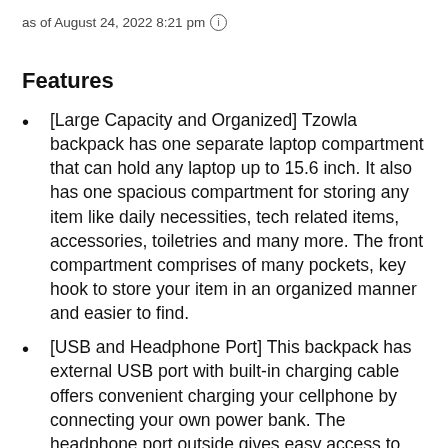as of August 24, 2022 8:21 pm ⓘ
Features
[Large Capacity and Organized] Tzowla backpack has one separate laptop compartment that can hold any laptop up to 15.6 inch. It also has one spacious compartment for storing any item like daily necessities, tech related items, accessories, toiletries and many more. The front compartment comprises of many pockets, key hook to store your item in an organized manner and easier to find.
[USB and Headphone Port] This backpack has external USB port with built-in charging cable offers convenient charging your cellphone by connecting your own power bank. The headphone port outside gives easy access to Earphone usage as well.
[Anti-Theft Design] This backpack has fixed password